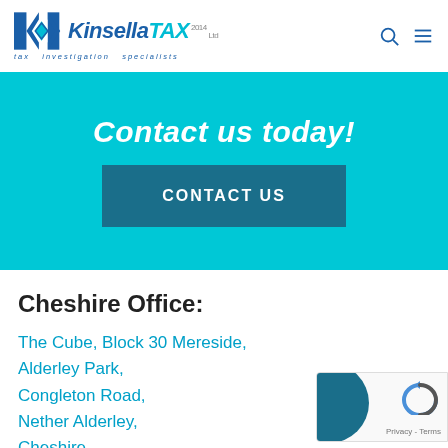[Figure (logo): KinsellaTAX 2014 Ltd logo with diamond icon and tagline 'tax investigation specialists']
Contact us today!
CONTACT US
Cheshire Office:
The Cube, Block 30 Mereside, Alderley Park, Congleton Road, Nether Alderley, Cheshire